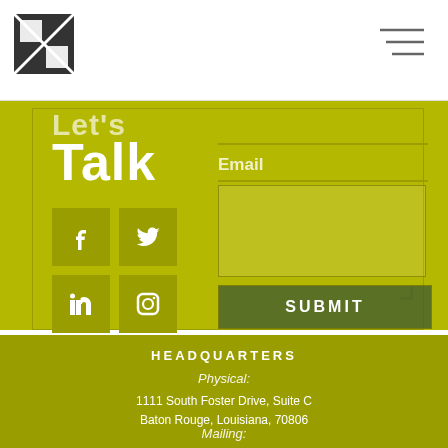[Figure (logo): Black and white geometric logo with 'OL' letters]
[Figure (other): Hamburger menu icon (three horizontal lines)]
Let's Talk
[Figure (other): Social media icons: Facebook, Twitter, LinkedIn, Instagram in olive square buttons]
Email
SUBMIT
HEADQUARTERS
Physical:
1111 South Foster Drive, Suite C
Baton Rouge, Louisiana, 70806
Mailing:
9618 Jefferson Highway, Suite D #377